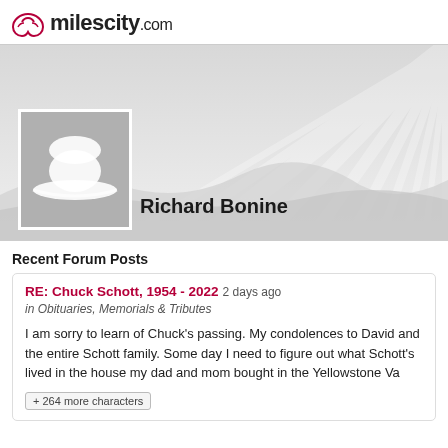milescity.com
[Figure (illustration): Profile banner with sunburst rays on grey background, rolling hills silhouette, and a placeholder profile photo (grey square with white cowboy hat silhouette). Name 'Richard Bonine' displayed next to the photo.]
Richard Bonine
Recent Forum Posts
RE: Chuck Schott, 1954 - 2022 2 days ago
in Obituaries, Memorials & Tributes
I am sorry to learn of Chuck's passing. My condolences to David and the entire Schott family. Some day I need to figure out what Schott's lived in the house my dad and mom bought in the Yellowstone Va
+ 264 more characters